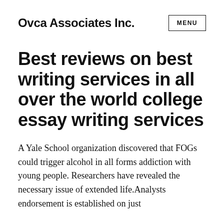Ovca Associates Inc.
Best reviews on best writing services in all over the world college essay writing services
A Yale School organization discovered that FOGs could trigger alcohol in all forms addiction with young people. Researchers have revealed the necessary issue of extended life.Analysts endorsement is established on just